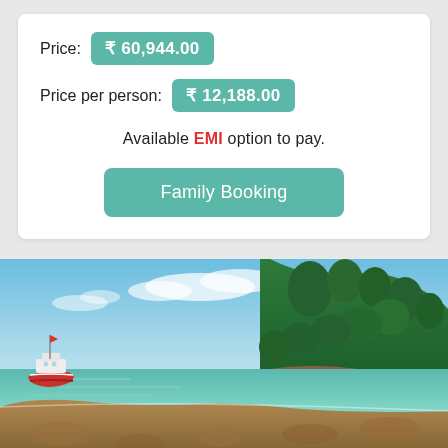Price: ₹ 60,944.00
Price per person: ₹ 12,188.00
Available EMI option to pay.
Family Booking
[Figure (photo): A tropical beach scene with a red-and-white boat moored on the calm turquoise water, a rocky coral foreground, and a densely forested hillside with palm trees under a partly cloudy blue sky.]